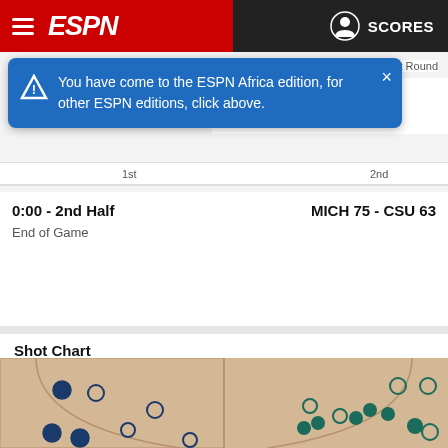ESPN — SCORES
You have come to the ESPN Africa edition, for other ESPN editions, click above.
1st Round
63   6 CSU  25-6
1st   2nd
0:00 - 2nd Half   MICH 75 - CSU 63
End of Game
Shot Chart
[Figure (other): Basketball shot chart showing two half-court views side by side. Left side shows blue/dark shots for one team, right side shows teal/green shots for another team. Multiple shot markers (filled circles = made, open circles = missed) scattered across the court areas.]